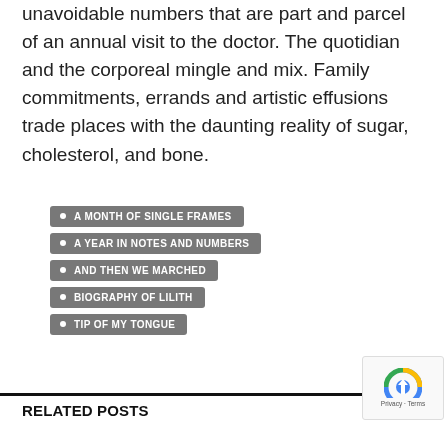unavoidable numbers that are part and parcel of an annual visit to the doctor. The quotidian and the corporeal mingle and mix. Family commitments, errands and artistic effusions trade places with the daunting reality of sugar, cholesterol, and bone.
A MONTH OF SINGLE FRAMES
A YEAR IN NOTES AND NUMBERS
AND THEN WE MARCHED
BIOGRAPHY OF LILITH
TIP OF MY TONGUE
RELATED POSTS